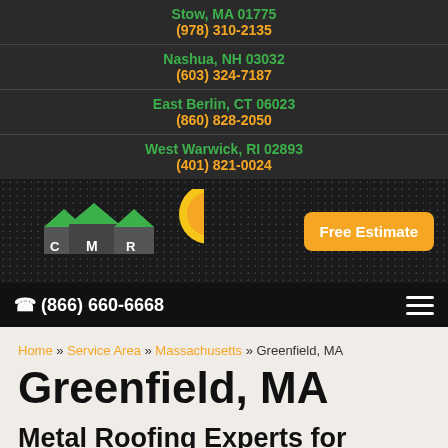Stow, MA 01775
(978) 310-2135
Nashua, NH 03032
(603) 324-7187
East Berlin, CT 06023
(860) 828-2050
West Warwick, RI 02893
(401) 821-0024
[Figure (logo): CMR metal roofing logo with house shapes and yellow sun]
Free Estimate
(866) 660-6668
Home » Service Area » Massachusetts » Greenfield, MA
Greenfield, MA
Metal Roofing Experts for Greenfield MA